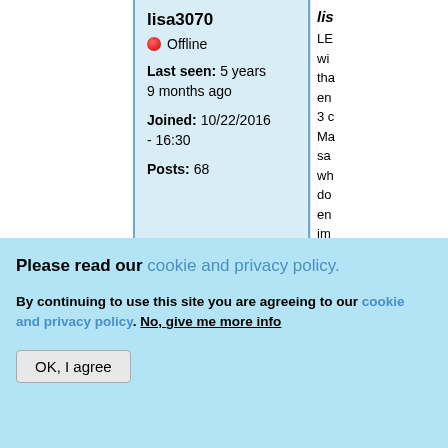lisa3070
🔴 Offline
Last seen: 5 years 9 months ago
Joined: 10/22/2016 - 16:30
Posts: 68
lis... LE... wi... tha... en... 3 ... Ma... sa... wh... do... en... im... W...
Please read our cookie and privacy policy.
By continuing to use this site you are agreeing to our cookie and privacy policy. No, give me more info
OK, I agree